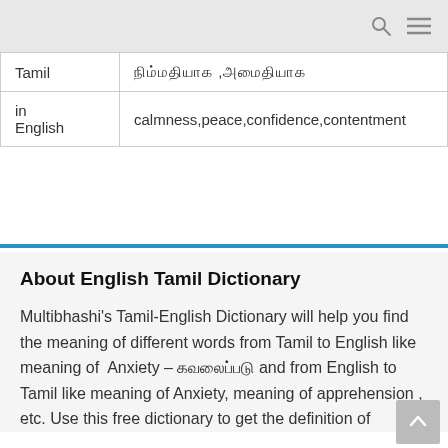| Tamil | நிம்மதியாக ,அமைதியாக |
| in English | calmness,peace,confidence,contentment |
About English Tamil Dictionary
Multibhashi's Tamil-English Dictionary will help you find the meaning of different words from Tamil to English like meaning of Anxiety – கவலைப்படு and from English to Tamil like meaning of Anxiety, meaning of apprehension , etc. Use this free dictionary to get the definition of